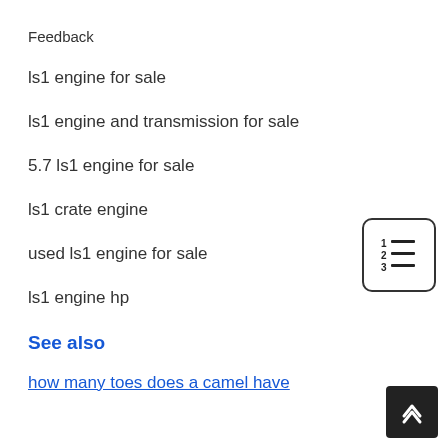Feedback
ls1 engine for sale
ls1 engine and transmission for sale
5.7 ls1 engine for sale
ls1 crate engine
used ls1 engine for sale
ls1 engine hp
See also
how many toes does a camel have